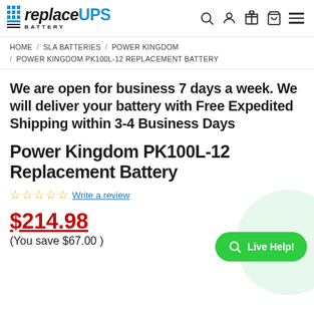replaceUPS BATTERY
HOME / SLA BATTERIES / POWER KINGDOM / POWER KINGDOM PK100L-12 REPLACEMENT BATTERY
We are open for business 7 days a week. We will deliver your battery with Free Expedited Shipping within 3-4 Business Days
Power Kingdom PK100L-12 Replacement Battery
☆☆☆☆☆ Write a review
$214.98
(You save $67.00 )